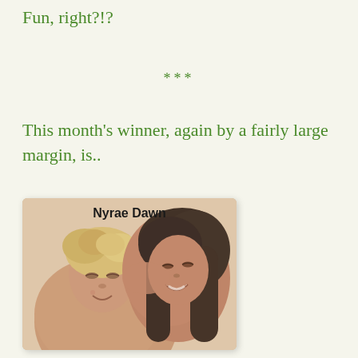Fun, right?!?
***
This month's winner, again by a fairly large margin, is..
[Figure (illustration): Book cover showing a man and woman embracing and smiling, with the author name 'Nyrae Dawn' displayed at the top in bold text.]